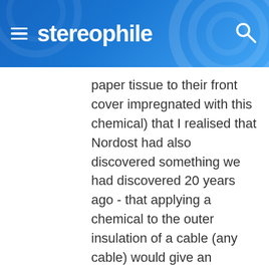stereophile
paper tissue to their front cover impregnated with this chemical) that I realised that Nordost had also discovered something we had discovered 20 years ago - that applying a chemical to the outer insulation of a cable (any cable) would give an improvement in the sound !!! This recommendation by Nordost was not marketing hype - introduced by their sales department - because it was